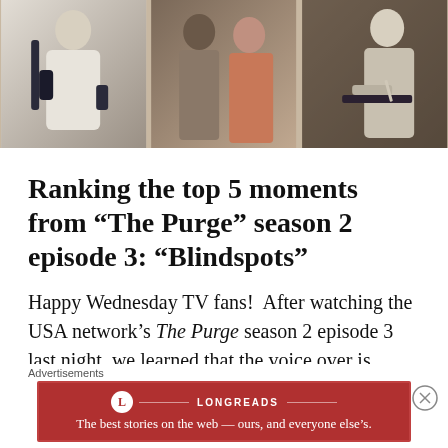[Figure (photo): Three-panel photo strip showing scenes from The Purge TV show: left panel shows a person in white protective gear holding a weapon, center panel shows two people in a dimly lit room, right panel shows a person writing at a desk.]
Ranking the top 5 moments from “The Purge” season 2 episode 3: “Blindspots”
Happy Wednesday TV fans!  After watching the USA network’s The Purge season 2 episode 3 last night, we learned that the voice over is
Advertisements
[Figure (logo): Longreads advertisement banner in red: circular L logo, LONGREADS brand name, tagline 'The best stories on the web — ours, and everyone else’s.']